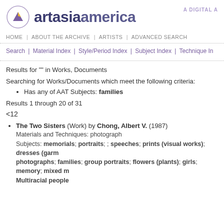[Figure (logo): artasiamerica logo with triangle/mountain icon and circle, with 'A DIGITAL A[RCHIVE]' text to the right]
HOME | ABOUT THE ARCHIVE | ARTISTS | ADVANCED SEARCH
Search | Material Index | Style/Period Index | Subject Index | Technique In[dex]
Results for "" in Works, Documents
Searching for Works/Documents which meet the following criteria:
Has any of AAT Subjects: families
Results 1 through 20 of 31
<12
The Two Sisters (Work) by Chong, Albert V. (1987)
Materials and Techniques: photograph
Subjects: memorials; portraits; ; speeches; prints (visual works); dresses (garm[ents]); photographs; families; group portraits; flowers (plants); girls; memory; mixed m[edia]; Multiracial people